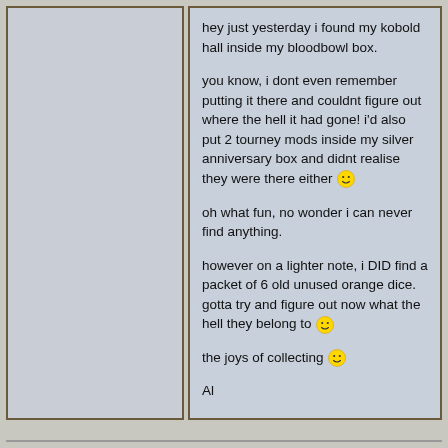hey just yesterday i found my kobold hall inside my bloodbowl box.
you know, i dont even remember putting it there and couldnt figure out where the hell it had gone! i'd also put 2 tourney mods inside my silver anniversary box and didnt realise they were there either 😀
oh what fun, no wonder i can never find anything.
however on a lighter note, i DID find a packet of 6 old unused orange dice. gotta try and figure out now what the hell they belong to 😀
the joys of collecting 😀
Al